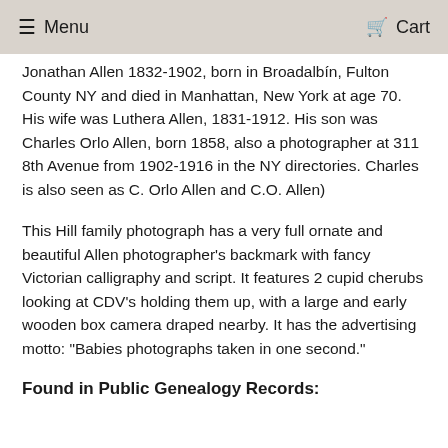Menu   Cart
Jonathan Allen 1832-1902, born in Broadalbín, Fulton County NY and died in Manhattan, New York at age 70. His wife was Luthera Allen, 1831-1912. His son was Charles Orlo Allen, born 1858, also a photographer at 311 8th Avenue from 1902-1916 in the NY directories. Charles is also seen as C. Orlo Allen and C.O. Allen)
This Hill family photograph has a very full ornate and beautiful Allen photographer's backmark with fancy Victorian calligraphy and script. It features 2 cupid cherubs looking at CDV's holding them up, with a large and early wooden box camera draped nearby. It has the advertising motto: "Babies photographs taken in one second."
Found in Public Genealogy Records: